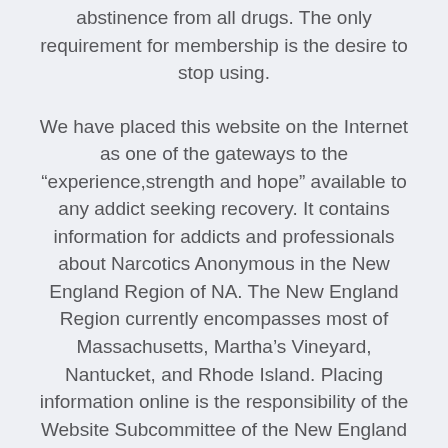abstinence from all drugs. The only requirement for membership is the desire to stop using.
We have placed this website on the Internet as one of the gateways to the “experience,strength and hope” available to any addict seeking recovery. It contains information for addicts and professionals about Narcotics Anonymous in the New England Region of NA. The New England Region currently encompasses most of Massachusetts, Martha’s Vineyard, Nantucket, and Rhode Island. Placing information online is the responsibility of the Website Subcommittee of the New England Regional Service Committee. We hope you find our website useful and helpful.
We know that the therapeutic value of one addict helping